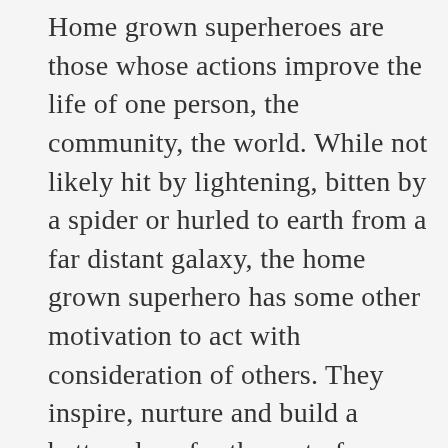Home grown superheroes are those whose actions improve the life of one person, the community, the world. While not likely hit by lightening, bitten by a spider or hurled to earth from a far distant galaxy, the home grown superhero has some other motivation to act with consideration of others. They inspire, nurture and build a better place for the rest of us. Our Super Powers manifest in the most extraordinary ways! If you know someone whose small gesture made a huge difference or whose idea or invention made you happy then we want to know about it! What is YOUR Super Power? Please add your story, photo, link as a comment here or on our Facebook page. We want to celebrate the